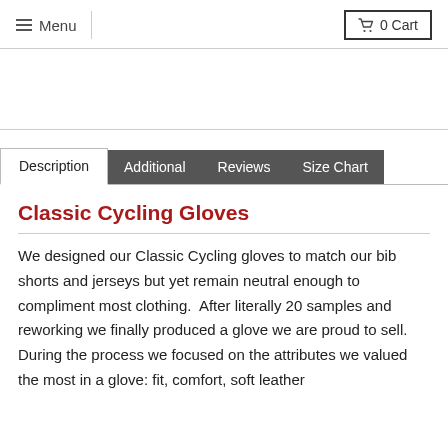Menu   0 Cart
Description | Additional | Reviews | Size Chart
Classic Cycling Gloves
We designed our Classic Cycling gloves to match our bib shorts and jerseys but yet remain neutral enough to compliment most clothing.  After literally 20 samples and reworking we finally produced a glove we are proud to sell.  During the process we focused on the attributes we valued the most in a glove: fit, comfort, soft leather